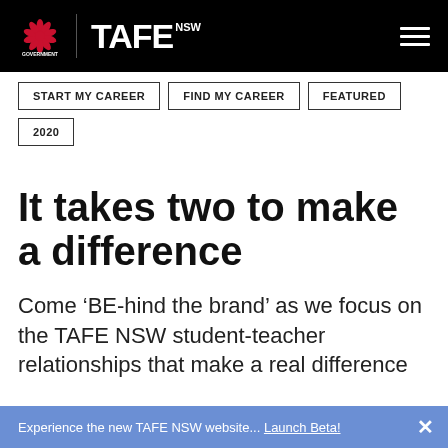NSW Government | TAFE NSW
START MY CAREER
FIND MY CAREER
FEATURED
2020
It takes two to make a difference
Come ‘BE-hind the brand’ as we focus on the TAFE NSW student-teacher relationships that make a real difference
Experience the new TAFE NSW website... Launch Beta!